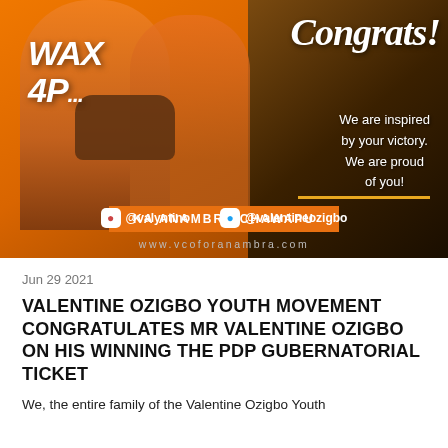[Figure (photo): Congratulations banner image for Valentine Ozigbo showing people in orange shirts with text 'Congrats! We are inspired by your victory. We are proud of you!' and 'KA ANAMBRA CHAWAPU', social handles @valyntino and @valentineozigbo, website www.vcoforanambra.com]
Jun 29 2021
VALENTINE OZIGBO YOUTH MOVEMENT CONGRATULATES MR VALENTINE OZIGBO ON HIS WINNING THE PDP GUBERNATORIAL TICKET
We, the entire family of the Valentine Ozigbo Youth